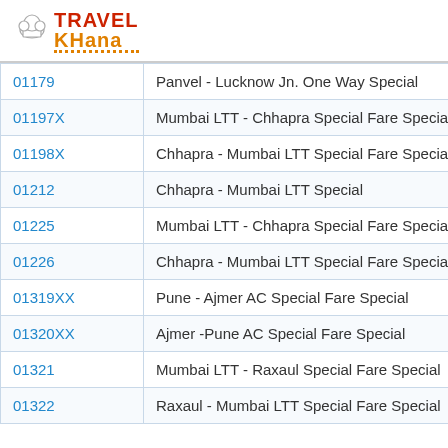[Figure (logo): TravelKhana logo with chef hat icon, red and orange text]
| 01179 | Panvel - Lucknow Jn. One Way Special |
| 01197X | Mumbai LTT - Chhapra Special Fare Specia |
| 01198X | Chhapra - Mumbai LTT Special Fare Specia |
| 01212 | Chhapra - Mumbai LTT Special |
| 01225 | Mumbai LTT - Chhapra Special Fare Specia |
| 01226 | Chhapra - Mumbai LTT Special Fare Specia |
| 01319XX | Pune - Ajmer AC Special Fare Special |
| 01320XX | Ajmer -Pune AC Special Fare Special |
| 01321 | Mumbai LTT - Raxaul Special Fare Special |
| 01322 | Raxaul - Mumbai LTT Special Fare Special |